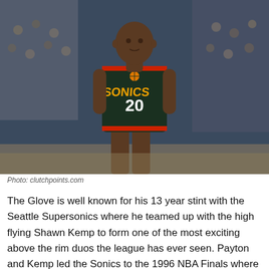[Figure (photo): Gary Payton wearing Seattle SuperSonics jersey number 20 in a dark green uniform with orange trim, standing on a basketball court with arena crowd in background.]
Photo: clutchpoints.com
The Glove is well known for his 13 year stint with the Seattle Supersonics where he teamed up with the high flying Shawn Kemp to form one of the most exciting above the rim duos the league has ever seen. Payton and Kemp led the Sonics to the 1996 NBA Finals where the Sonics lost to Michael Jordan's Chicago Bulls...